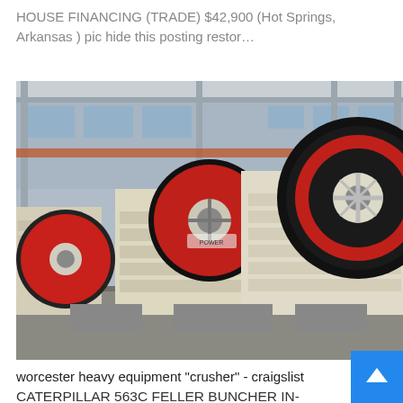HOUSE FINANCING (TRADE) $42,900 (Hot Springs, Arkansas ) pic hide this posting restor…
[Figure (photo): Industrial jaw crusher machines displayed inside a large factory/warehouse. Multiple cream-colored jaw crushers with red and black flywheels are shown side by side on a concrete floor, with steel-framed industrial building structure visible in the background.]
worcester heavy equipment "crusher" - craigslist
CATERPILLAR 563C FELLER BUNCHER IN-